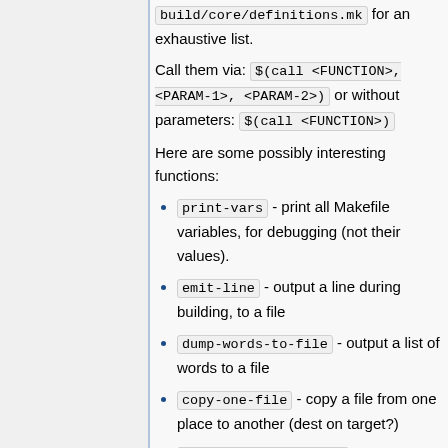build/core/definitions.mk for an exhaustive list.
Call them via: $(call <FUNCTION>, <PARAM-1>, <PARAM-2>) or without parameters: $(call <FUNCTION>)
Here are some possibly interesting functions:
print-vars - print all Makefile variables, for debugging (not their values).
emit-line - output a line during building, to a file
dump-words-to-file - output a list of words to a file
copy-one-file - copy a file from one place to another (dest on target?)
all-subdir-makefiles - Recursively calls all Android.mk